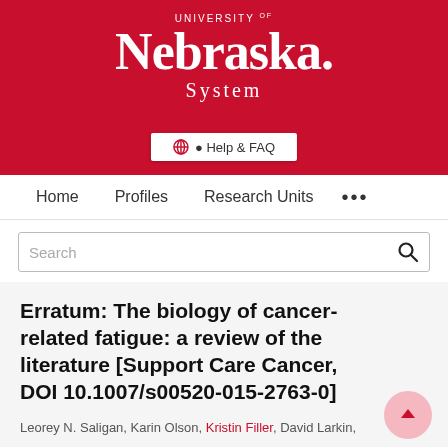[Figure (logo): University of Nebraska System logo — white text on red background banner]
[Figure (other): Help & FAQ button on red banner]
Home   Profiles   Research Units   ...
Search
Erratum: The biology of cancer-related fatigue: a review of the literature [Support Care Cancer, DOI 10.1007/s00520-015-2763-0]
Leorey N. Saligan, Karin Olson, Kristin Filler, David Larkin,